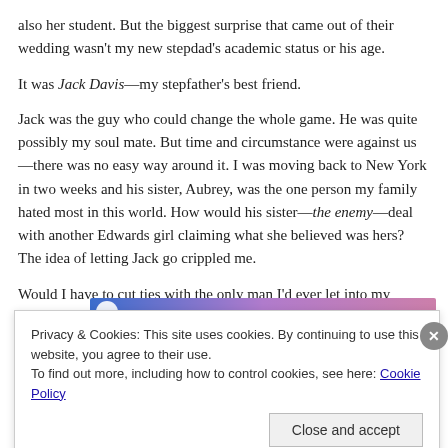also her student. But the biggest surprise that came out of their wedding wasn't my new stepdad's academic status or his age.
It was Jack Davis—my stepfather's best friend.
Jack was the guy who could change the whole game. He was quite possibly my soul mate. But time and circumstance were against us—there was no easy way around it. I was moving back to New York in two weeks and his sister, Aubrey, was the one person my family hated most in this world. How would his sister—the enemy—deal with another Edwards girl claiming what she believed was hers? The idea of letting Jack go crippled me.
Would I have to cut ties with the only man I'd ever let into my heart?
Privacy & Cookies: This site uses cookies. By continuing to use this website, you agree to their use.
To find out more, including how to control cookies, see here: Cookie Policy
Close and accept